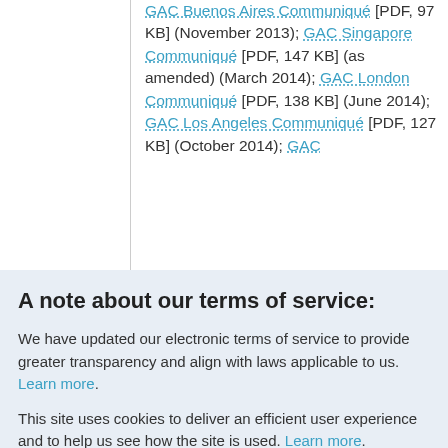GAC Buenos Aires Communiqué [PDF, 97 KB] (November 2013); GAC Singapore Communiqué [PDF, 147 KB] (as amended) (March 2014); GAC London Communiqué [PDF, 138 KB] (June 2014); GAC Los Angeles Communiqué [PDF, 127 KB] (October 2014); GAC
A note about our terms of service:
We have updated our electronic terms of service to provide greater transparency and align with laws applicable to us. Learn more.
This site uses cookies to deliver an efficient user experience and to help us see how the site is used. Learn more. OK